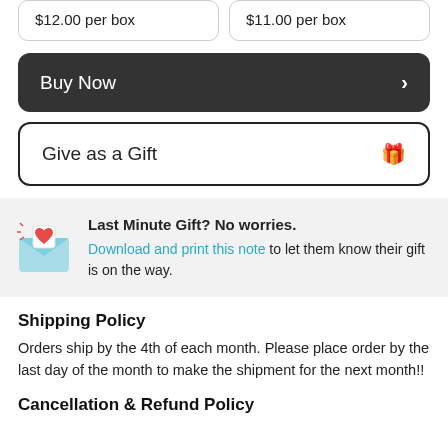$12.00 per box
$11.00 per box
Buy Now ›
Give as a Gift 🎁
Last Minute Gift? No worries. Download and print this note to let them know their gift is on the way.
Shipping Policy
Orders ship by the 4th of each month. Please place order by the last day of the month to make the shipment for the next month!!
Cancellation & Refund Policy